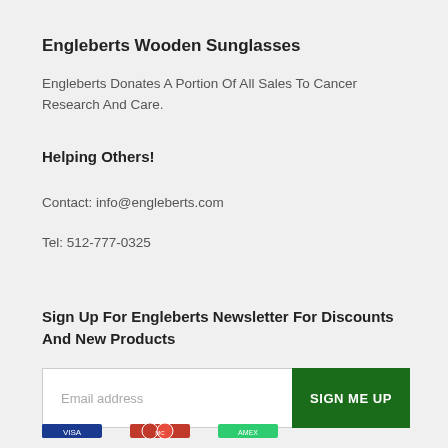Engleberts Wooden Sunglasses
Engleberts Donates A Portion Of All Sales To Cancer Research And Care.
Helping Others!
Contact: info@engleberts.com
Tel: 512-777-0325
Sign Up For Engleberts Newsletter For Discounts And New Products
[Figure (other): Email signup form with text input field labeled 'Email address' and a dark green button labeled 'SIGN ME UP']
[Figure (other): Payment icons row at the bottom of the page]